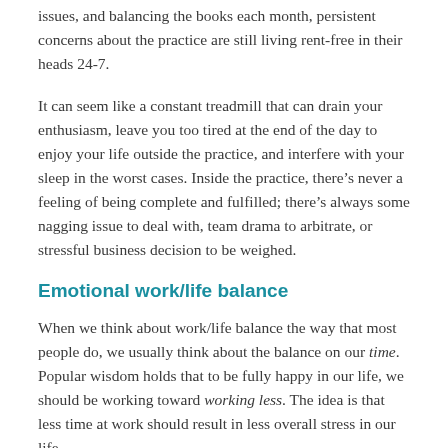issues, and balancing the books each month, persistent concerns about the practice are still living rent-free in their heads 24-7.
It can seem like a constant treadmill that can drain your enthusiasm, leave you too tired at the end of the day to enjoy your life outside the practice, and interfere with your sleep in the worst cases. Inside the practice, there’s never a feeling of being complete and fulfilled; there’s always some nagging issue to deal with, team drama to arbitrate, or stressful business decision to be weighed.
Emotional work/life balance
When we think about work/life balance the way that most people do, we usually think about the balance on our time. Popular wisdom holds that to be fully happy in our life, we should be working toward working less. The idea is that less time at work should result in less overall stress in our life.